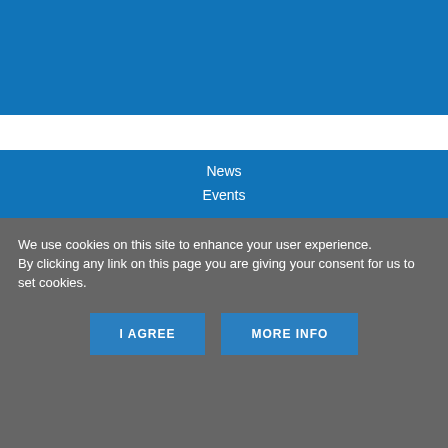News
Events
Get Listed
Sign In
Contact Us
Download Media Pack
We use cookies on this site to enhance your user experience.
By clicking any link on this page you are giving your consent for us to set cookies.
I AGREE
MORE INFO